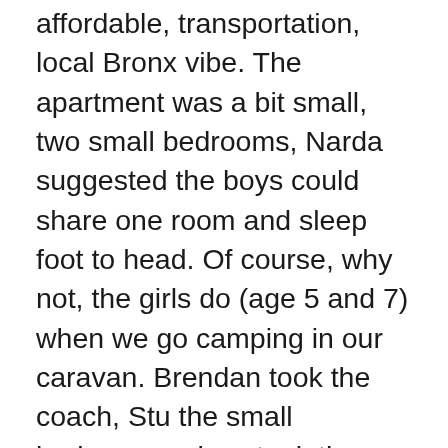affordable, transportation, local Bronx vibe. The apartment was a bit small, two small bedrooms, Narda suggested the boys could share one room and sleep foot to head. Of course, why not, the girls do (age 5 and 7) when we go camping in our caravan. Brendan took the coach, Stu the small bedroom and we took the master suite, meaning there was enough room to turn around in. We had a small, one person could fit, kitchen. And the lounge was large enough for us to sit in when Brendan wasn't sleeping. Across the street was the local ambulance centre, 8 – 10 ambulances about the place when they weren't sounding their sirens and roaming the Bronx. Next to our four-storey building were 25 storey projects, blocks of them. Being summer, the locals were sitting in front of the projects playing loud foreign Bronx music, until when, I don't know, once the earplugs were in deep enough I could hear them but eventually would go to sleep, by morning it was qui